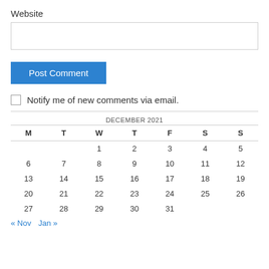Website
Post Comment
Notify me of new comments via email.
| M | T | W | T | F | S | S |
| --- | --- | --- | --- | --- | --- | --- |
|  |  | 1 | 2 | 3 | 4 | 5 |
| 6 | 7 | 8 | 9 | 10 | 11 | 12 |
| 13 | 14 | 15 | 16 | 17 | 18 | 19 |
| 20 | 21 | 22 | 23 | 24 | 25 | 26 |
| 27 | 28 | 29 | 30 | 31 |  |  |
« Nov  Jan »